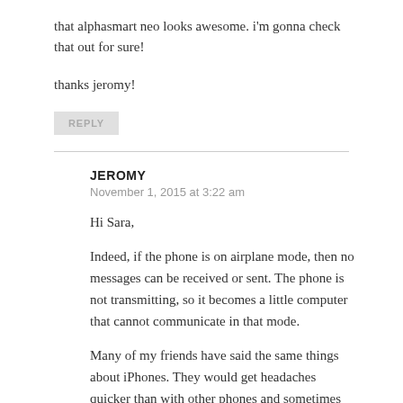that alphasmart neo looks awesome. i'm gonna check that out for sure!
thanks jeromy!
REPLY
JEROMY
November 1, 2015 at 3:22 am
Hi Sara,
Indeed, if the phone is on airplane mode, then no messages can be received or sent. The phone is not transmitting, so it becomes a little computer that cannot communicate in that mode.
Many of my friends have said the same things about iPhones. They would get headaches quicker than with other phones and sometimes could not even hold the phones for any length of time. For some reason, Apple